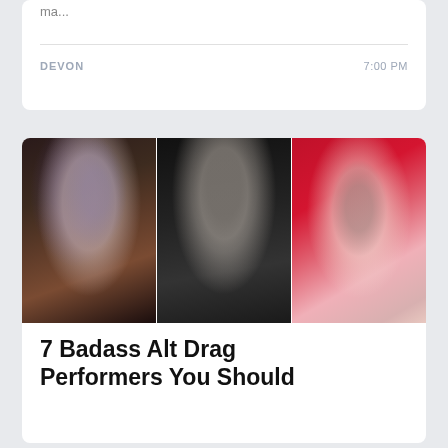ma...
DEVON
7:00 PM
[Figure (photo): Three drag performers side by side: left has elaborate blue eye makeup with large lashes and red lips with curled hair accessories; center has black serpent face paint with black glove; right has bright red hair with dark dramatic makeup and tattoos.]
7 Badass Alt Drag Performers You Should